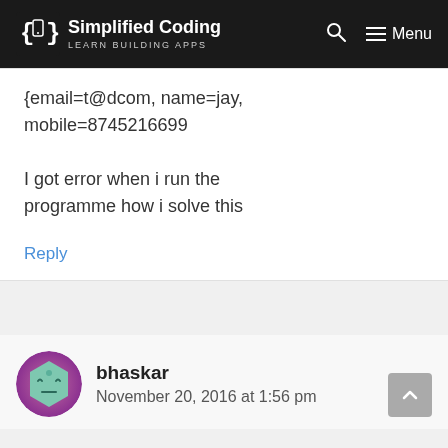Simplified Coding — LEARN BUILDING APPS — Menu
{email=t@dcom, name=jay, mobile=8745216699
I got error when i run the programme how i solve this
Reply
bhaskar
November 20, 2016 at 1:56 pm